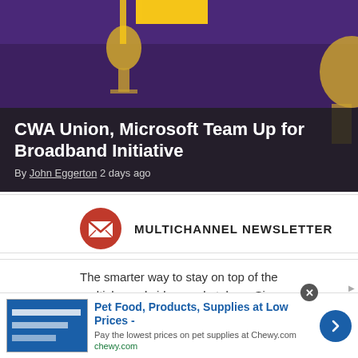[Figure (illustration): Hero banner with dark background showing microphone/podcast themed graphic in purple and gold tones]
CWA Union, Microsoft Team Up for Broadband Initiative
By John Eggerton 2 days ago
MULTICHANNEL NEWSLETTER
The smarter way to stay on top of the multichannel video marketplace. Sign up below.
I consent the use of my personal data in accordance with Future's privacy policy,
Pet Food, Products, Supplies at Low Prices - Pay the lowest prices on pet supplies at Chewy.com chewy.com